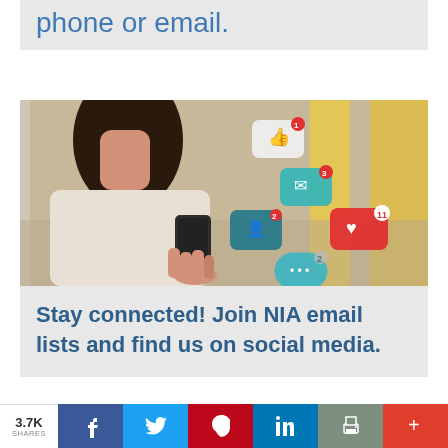phone or email.
[Figure (illustration): Person holding a smartphone with social media notification icons floating above the phone, including a thumbs-up, envelope, heart, profile, and speech bubble icons in teal, red, and white on a blurred background.]
Stay connected! Join NIA email lists and find us on social media.
3.7K SHARES  [Facebook] [Twitter] [Pinterest] [LinkedIn] [Print] [More]